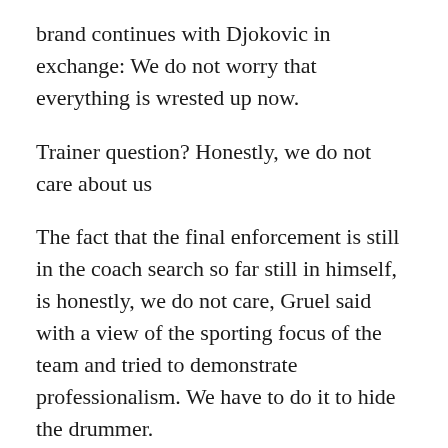brand continues with Djokovic in exchange: We do not worry that everything is wrested up now.
Trainer question? Honestly, we do not care about us
The fact that the final enforcement is still in the coach search so far still in himself, is honestly, we do not care, Gruel said with a view of the sporting focus of the team and tried to demonstrate professionalism. We have to do it to hide the drummer.
Whether this or next week a decision in the coach search case is not the topic of players. That the track leads to Ole Werner is considered very likely. That this will not come against his ex-club yet to his Welder